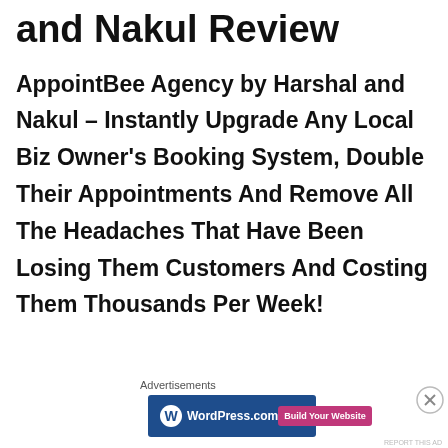and Nakul Review
AppointBee Agency by Harshal and Nakul – Instantly Upgrade Any Local Biz Owner's Booking System, Double Their Appointments And Remove All The Headaches That Have Been Losing Them Customers And Costing Them Thousands Per Week!
[Figure (screenshot): WordPress.com advertisement banner with blue background, WordPress logo on left, and pink 'Build Your Website' button on right. An X close button appears in the upper right corner of the ad overlay.]